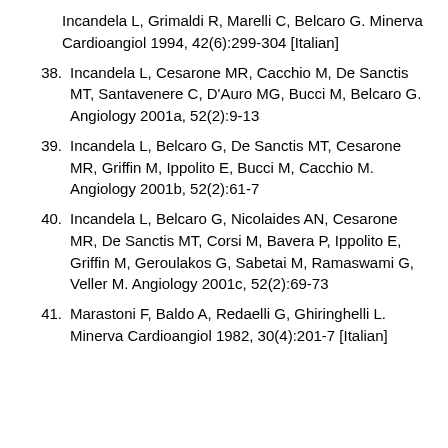Incandela L, Grimaldi R, Marelli C, Belcaro G. Minerva Cardioangiol 1994, 42(6):299-304 [Italian]
38. Incandela L, Cesarone MR, Cacchio M, De Sanctis MT, Santavenere C, D'Auro MG, Bucci M, Belcaro G. Angiology 2001a, 52(2):9-13
39. Incandela L, Belcaro G, De Sanctis MT, Cesarone MR, Griffin M, Ippolito E, Bucci M, Cacchio M. Angiology 2001b, 52(2):61-7
40. Incandela L, Belcaro G, Nicolaides AN, Cesarone MR, De Sanctis MT, Corsi M, Bavera P, Ippolito E, Griffin M, Geroulakos G, Sabetai M, Ramaswami G, Veller M. Angiology 2001c, 52(2):69-73
41. Marastoni F, Baldo A, Redaelli G, Ghiringhelli L. Minerva Cardioangiol 1982, 30(4):201-7 [Italian]